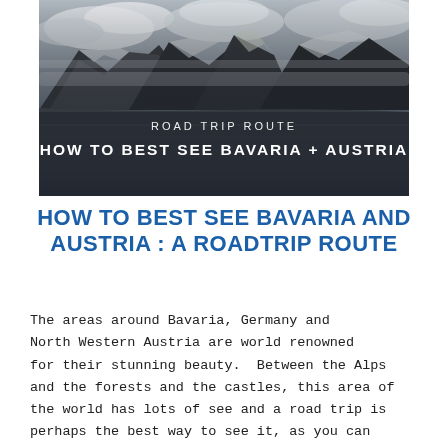[Figure (photo): Black and white landscape photo of a mountain lake with misty alpine peaks in the background. Overlaid text reads 'ROAD TRIP ROUTE' and 'HOW TO BEST SEE BAVARIA + AUSTRIA' in white bold letters.]
HOW TO BEST SEE BAVARIA AND AUSTRIA : A ROADTRIP ROUTE
The areas around Bavaria, Germany and North Western Austria are world renowned for their stunning beauty.  Between the Alps and the forests and the castles, this area of the world has lots of see and a road trip is perhaps the best way to see it, as you can